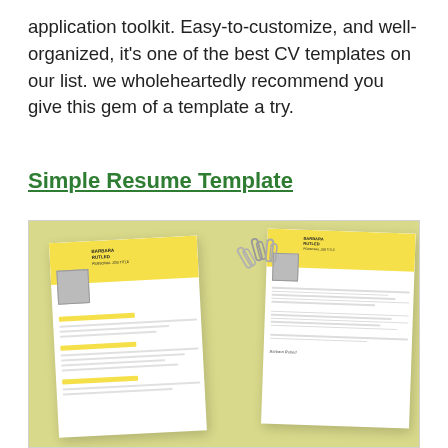application toolkit. Easy-to-customize, and well-organized, it's one of the best CV templates on our list. we wholeheartedly recommend you give this gem of a template a try.
Simple Resume Template
[Figure (photo): Two resume/CV template mockups for 'Barbara Rutled' displayed on a yellow-green background with paperclips. Left shows a resume with yellow header and photo; right shows a cover letter version with matching yellow header and photo.]